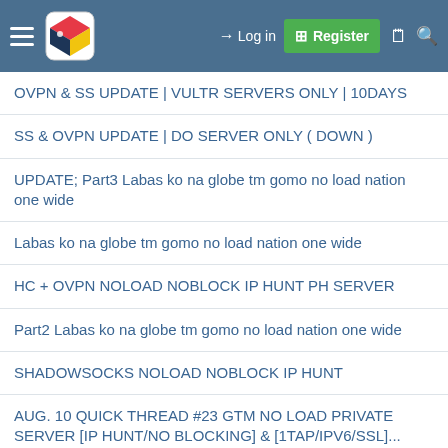Log in | Register
OVPN & SS UPDATE | VULTR SERVERS ONLY | 10DAYS
SS & OVPN UPDATE | DO SERVER ONLY ( DOWN )
UPDATE; Part3 Labas ko na globe tm gomo no load nation one wide
Labas ko na globe tm gomo no load nation one wide
HC + OVPN NOLOAD NOBLOCK IP HUNT PH SERVER
Part2 Labas ko na globe tm gomo no load nation one wide
SHADOWSOCKS NOLOAD NOBLOCK IP HUNT
AUG. 10 QUICK THREAD #23 GTM NO LOAD PRIVATE SERVER [IP HUNT/NO BLOCKING] & [1TAP/IPV6/SSL]...
GTM NO LOAD NO NEED IP HUNT NO NEED IPV6 NO BLOCKING NO NEED MAGIC IP WORKING FOR ALL LOCATIONS...